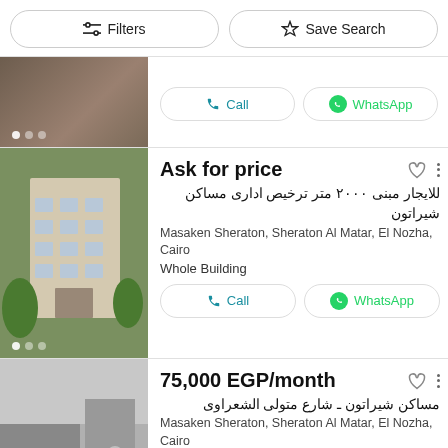Filters | Save Search
Call | WhatsApp (first listing)
Ask for price
للايجار مبنى ٢٠٠٠ متر ترخيص ادارى مساكن شيراتون
Masaken Sheraton, Sheraton Al Matar, El Nozha, Cairo
Whole Building
Call | WhatsApp (second listing)
75,000 EGP/month
مساكن شيراتون ـ شارع متولى الشعراوى
Masaken Sheraton, Sheraton Al Matar, El Nozha, Cairo
Full Floor, 3 Bathrooms
Call | WhatsApp (third listing, partially visible)